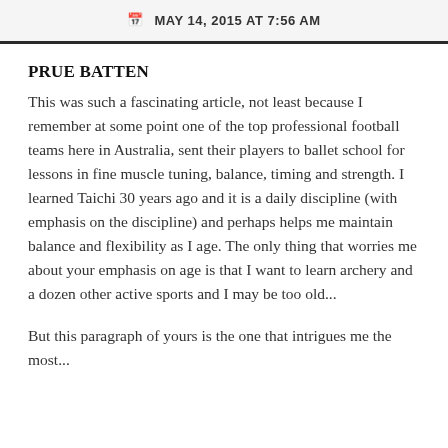MAY 14, 2015 AT 7:56 AM
PRUE BATTEN
This was such a fascinating article, not least because I remember at some point one of the top professional football teams here in Australia, sent their players to ballet school for lessons in fine muscle tuning, balance, timing and strength. I learned Taichi 30 years ago and it is a daily discipline (with emphasis on the discipline) and perhaps helps me maintain balance and flexibility as I age. The only thing that worries me about your emphasis on age is that I want to learn archery and a dozen other active sports and I may be too old...
But this paragraph of yours is the one that intrigues me the most...